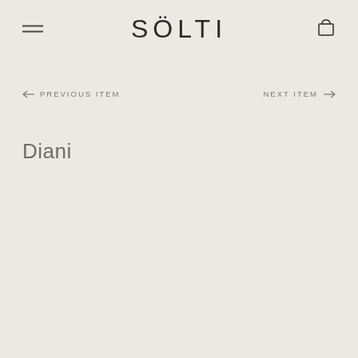SÖLTI
← PREVIOUS ITEM    NEXT ITEM →
Diani